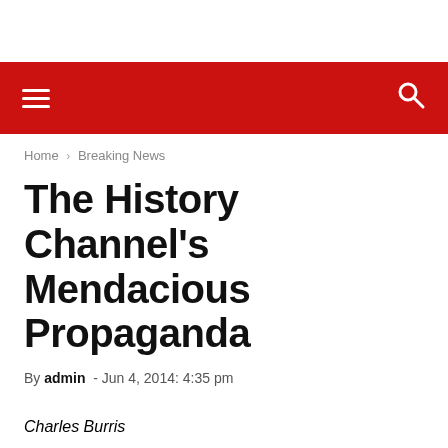Navigation bar with hamburger menu and search icon
Home › Breaking News
The History Channel's Mendacious Propaganda
By admin - Jun 4, 2014: 4:35 pm
Charles Burris